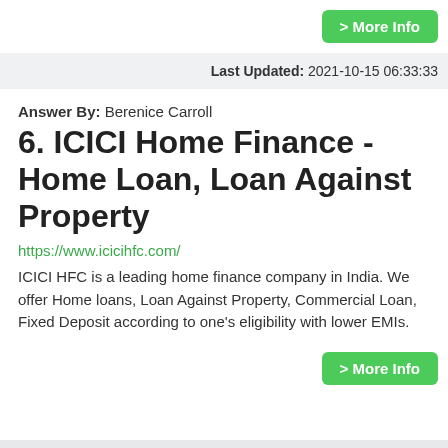> More Info
Last Updated: 2021-10-15 06:33:33
Answer By: Berenice Carroll
6. ICICI Home Finance - Home Loan, Loan Against Property
https://www.icicihfc.com/
ICICI HFC is a leading home finance company in India. We offer Home loans, Loan Against Property, Commercial Loan, Fixed Deposit according to one's eligibility with lower EMIs.
> More Info